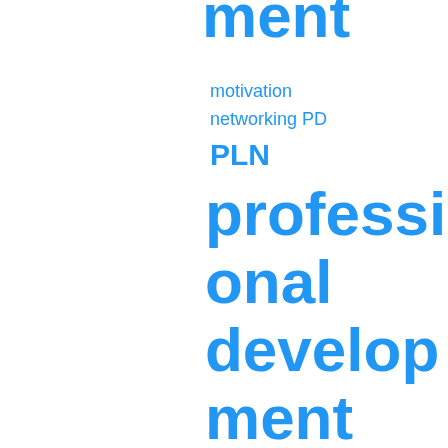[Figure (infographic): A word cloud / tag cloud in blue text on white background featuring education-related terms of varying sizes. Large terms include 'professional development', 'Scott Thornbury', 'PLN'. Smaller terms include 'motivation', 'networking', 'PD', 'reading', 'SFL', 'social media', 'speaking activities', 'summary', 'ment' (partial word at top).]